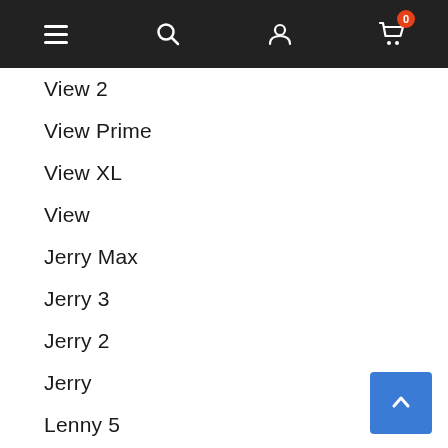Navigation bar with menu, search, user, and cart icons
View 2
View Prime
View XL
View
Jerry Max
Jerry 3
Jerry 2
Jerry
Lenny 5
Lenny 3 Max
Lenny 3
Lenny 2
Lenny
Bloom
Rainbow Up